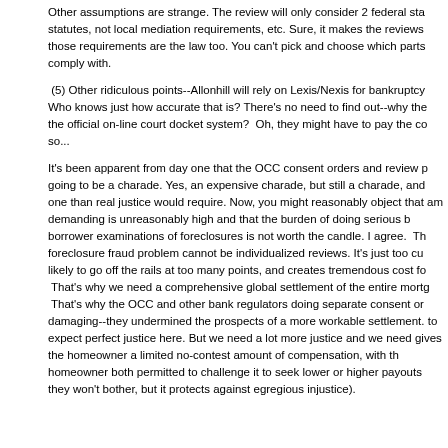Other assumptions are strange. The review will only consider 2 federal statutes, not local mediation requirements, etc. Sure, it makes the reviews easier, but those requirements are the law too. You can't pick and choose which parts of the law to comply with.
(5) Other ridiculous points--Allonhill will rely on Lexis/Nexis for bankruptcy data. Who knows just how accurate that is? There's no need to find out--why they aren't using the official on-line court docket system? Oh, they might have to pay the court fees to do so...
It's been apparent from day one that the OCC consent orders and review process were going to be a charade. Yes, an expensive charade, but still a charade, and a less complete one than real justice would require. Now, you might reasonably object that the standard I am demanding is unreasonably high and that the burden of doing serious harm-by-harm borrower examinations of foreclosures is not worth the candle. I agree. The answer to the foreclosure fraud problem cannot be individualized reviews. It's just too cumbersome, too likely to go off the rails at too many points, and creates tremendous cost for servicers. That's why we need a comprehensive global settlement of the entire mortgage servicing mess. That's why the OCC and other bank regulators doing separate consent orders was so damaging--they undermined the prospects of a more workable settlement. It's not realistic to expect perfect justice here. But we need a lot more justice and we need a system that gives the homeowner a limited no-contest amount of compensation, with the servicer and homeowner both permitted to challenge it to seek lower or higher payouts (knowing that they won't bother, but it protects against egregious injustice).